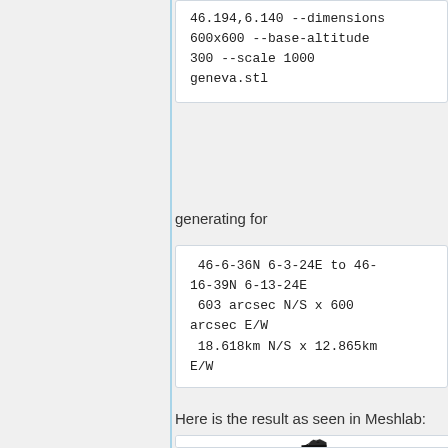46.194,6.140 --dimensions 600x600 --base-altitude 300 --scale 1000 geneva.stl
generating for
46-6-36N 6-3-24E to 46-16-39N 6-13-24E
 603 arcsec N/S x 600 arcsec E/W
 18.618km N/S x 12.865km E/W
Here is the result as seen in Meshlab:
[Figure (photo): A 3D terrain mesh of the Geneva area rendered in Meshlab, showing a dark-colored mountainous terrain model viewed from an angle.]